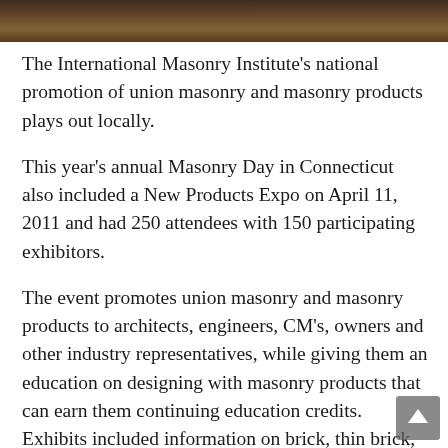[Figure (photo): Cropped photo strip showing people at an event, dark warm tones]
The International Masonry Institute's national promotion of union masonry and masonry products plays out locally.
This year's annual Masonry Day in Connecticut also included a New Products Expo on April 11, 2011 and had 250 attendees with 150 participating exhibitors.
The event promotes union masonry and masonry products to architects, engineers, CM's, owners and other industry representatives, while giving them an education on designing with masonry products that can earn them continuing education credits. Exhibits included information on brick, thin brick, CMU, anchors, ties, flashing, AAC, tile, stone, thin stone, Terra Cotta, concrete, plaster, terrazzo, restoration, PCC and all trowel trade related materials and accessories. Presentations featured “new” products and system technologies for adhered veneers, air barrier